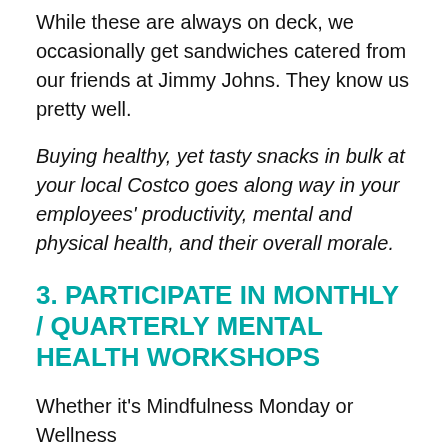While these are always on deck, we occasionally get sandwiches catered from our friends at Jimmy Johns. They know us pretty well.
Buying healthy, yet tasty snacks in bulk at your local Costco goes along way in your employees' productivity, mental and physical health, and their overall morale.
3. PARTICIPATE IN MONTHLY / QUARTERLY MENTAL HEALTH WORKSHOPS
Whether it's Mindfulness Monday or Wellness